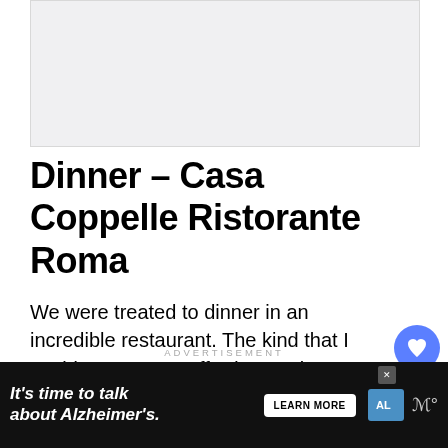[Figure (photo): Light gray image placeholder at the top of the page]
Dinner – Casa Coppelle Ristorante Roma
We were treated to dinner in an incredible restaurant. The kind that I could never, ever afford to eat in. I'm not sure if it's really a good thing for me to get a taste of luxury but I suppose I need to for research purposes… Hard life eh?
ADVERTISEMENT
[Figure (infographic): Alzheimer's Association advertisement banner: 'It's time to talk about Alzheimer's.' with Learn More button and logo]